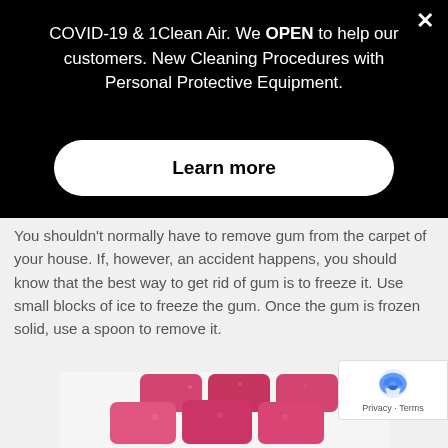COVID-19 & 1Clean Air. We OPEN to help our customers. New Cleaning Procedures with Personal Protective Equipment.
Learn more
You shouldn't normally have to remove gum from the carpet of your house. If, however, an accident happens, you should know that the best way to get rid of gum is to freeze it. Use small blocks of ice to freeze the gum. Once the gum is frozen solid, use a spoon to remove it.
[Figure (photo): Stack of pink/red rectangular chewing gum pieces piled on a white background]